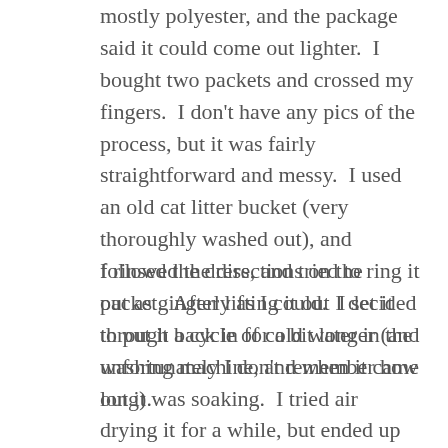mostly polyester, and the package said it could come out lighter.  I bought two packets and crossed my fingers.  I don't have any pics of the process, but it was fairly straightforward and messy.  I used an old cat litter bucket (very thoroughly washed out), and followed the directions on the packet.  After lifting it out I decided to put it back in for a bit longer (and unfortunately I don't remember how long).
I rinsed the dress, and tried to ring it out as gingerly as I could.  I set it through a cycle of cold water in the washing machine, and when it came out it was soaking.  I tried air drying it for a while, but ended up getting a HUGE pile of water on the floor.  I couldn't take it, and stuck it in the dryer on the lowest setting for a looooong time.